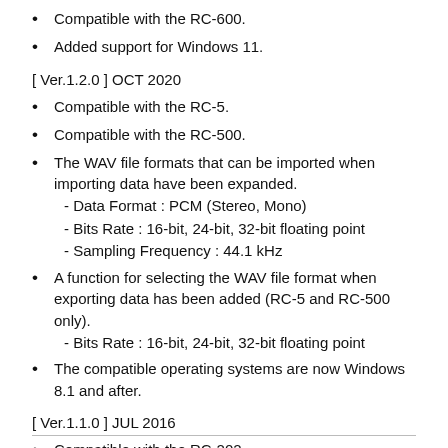Compatible with the RC-600.
Added support for Windows 11.
[ Ver.1.2.0 ] OCT 2020
Compatible with the RC-5.
Compatible with the RC-500.
The WAV file formats that can be imported when importing data have been expanded.
- Data Format : PCM (Stereo, Mono)
- Bits Rate : 16-bit, 24-bit, 32-bit floating point
- Sampling Frequency : 44.1 kHz
A function for selecting the WAV file format when exporting data has been added (RC-5 and RC-500 only).
- Bits Rate : 16-bit, 24-bit, 32-bit floating point
The compatible operating systems are now Windows 8.1 and after.
[ Ver.1.1.0 ] JUL 2016
Compatible with the RC-202.